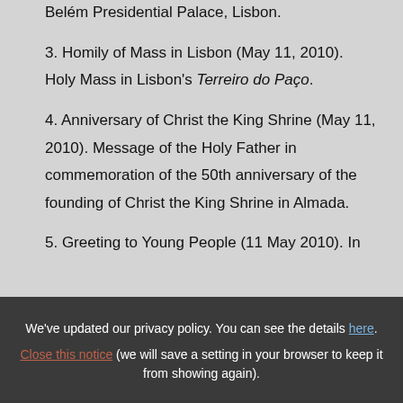Belém Presidential Palace, Lisbon.
3. Homily of Mass in Lisbon (May 11, 2010). Holy Mass in Lisbon's Terreiro do Paço.
4. Anniversary of Christ the King Shrine (May 11, 2010). Message of the Holy Father in commemoration of the 50th anniversary of the founding of Christ the King Shrine in Almada.
5. Greeting to Young People (11 May 2010). In
We've updated our privacy policy. You can see the details here. Close this notice (we will save a setting in your browser to keep it from showing again).